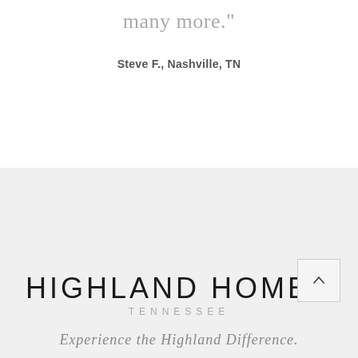many more."
Steve F., Nashville, TN
[Figure (logo): Highland Homes Tennessee logo with 'HIGHLAND HOMES' in large light sans-serif and 'TENNESSEE' in smaller spaced gray capitals]
Experience the Highland Difference.